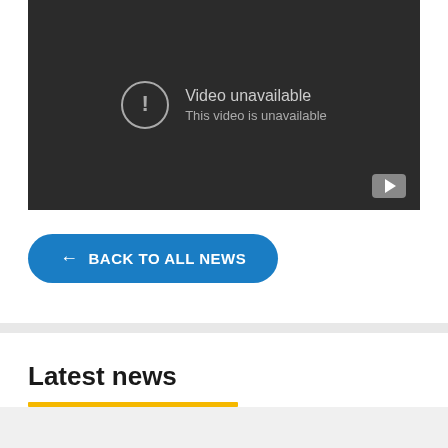[Figure (screenshot): Embedded video player showing 'Video unavailable - This video is unavailable' error message on a dark background with a YouTube play button icon in the bottom right corner.]
← BACK TO ALL NEWS
Latest news